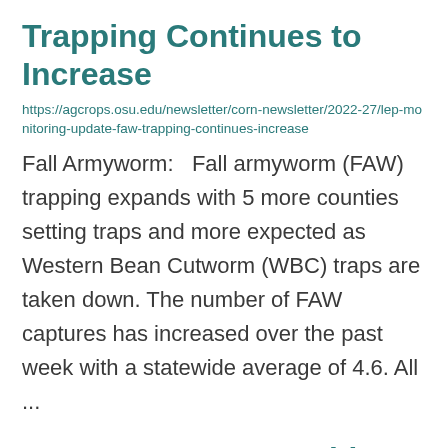Trapping Continues to Increase
https://agcrops.osu.edu/newsletter/corn-newsletter/2022-27/lep-monitoring-update-faw-trapping-continues-increase
Fall Armyworm:   Fall armyworm (FAW) trapping expands with 5 more counties setting traps and more expected as Western Bean Cutworm (WBC) traps are taken down. The number of FAW captures has increased over the past week with a statewide average of 4.6. All ...
More on Tar Spot: Mid to Late R-Stage Fungicide Application
https://agcrops.osu.edu/newsletter/corn-newsletter/2022-27/more-tar-spot-mid-late-r-...